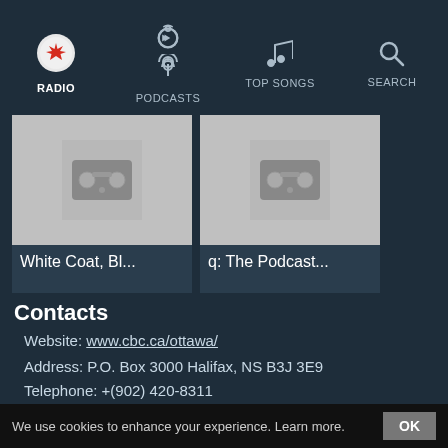RADIO | PODCASTS | TOP SONGS | SEARCH
[Figure (screenshot): Two podcast thumbnail cards: 'White Coat, Bl...' and 'q: The Podcast...' with radio icon placeholders]
Contacts
Website: www.cbc.ca/ottawa/
Address: P.O. Box 3000 Halifax, NS B3J 3E9
Telephone: +(902) 420-8311
Social networks
[Figure (logo): Twitter bird logo icon (blue background) and Facebook 'f' logo icon (dark blue background)]
We use cookies to enhance your experience. Learn more. OK